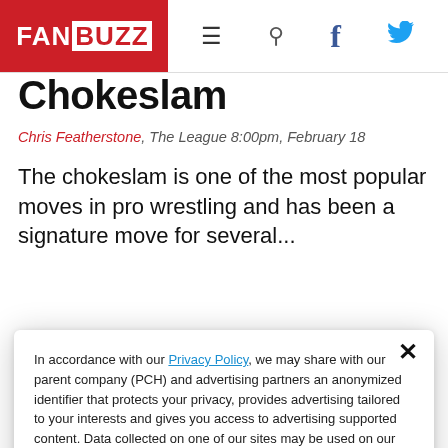FANBUZZ navigation bar with logo, hamburger menu, search, Facebook, and Twitter icons
Chokeslam
Chris Featherstone, The League 8:00pm, February 18
The chokeslam is one of the most popular moves in pro wrestling and has been a signature move for several...
In accordance with our Privacy Policy, we may share with our parent company (PCH) and advertising partners an anonymized identifier that protects your privacy, provides advertising tailored to your interests and gives you access to advertising supported content. Data collected on one of our sites may be used on our other owned and operated sites, which sites are identified in our Privacy Policy. All of our sites are governed by the same Privacy Policy, and by proceeding to access this site, you are consenting to that Privacy Policy.